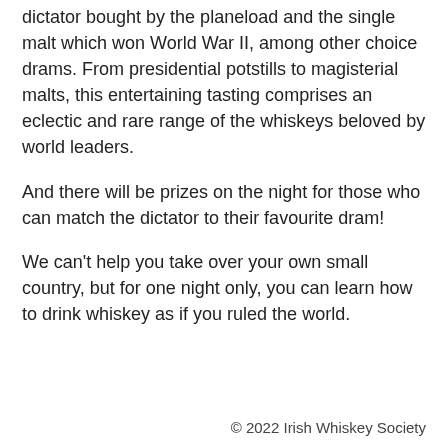dictator bought by the planeload and the single malt which won World War II, among other choice drams. From presidential potstills to magisterial malts, this entertaining tasting comprises an eclectic and rare range of the whiskeys beloved by world leaders.
And there will be prizes on the night for those who can match the dictator to their favourite dram!
We can't help you take over your own small country, but for one night only, you can learn how to drink whiskey as if you ruled the world.
© 2022 Irish Whiskey Society